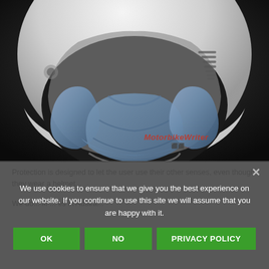[Figure (photo): Close-up photograph of a white motorcycle helmet with the visor removed, showing the interior blue/grey padding and chin area. Dark gradient background. Motorbike Writer watermark in bottom right.]
Protection is designed to let the user use their other senses, even though...
We do... iff ... es in Austra...
We use cookies to ensure that we give you the best experience on our website. If you continue to use this site we will assume that you are happy with it.